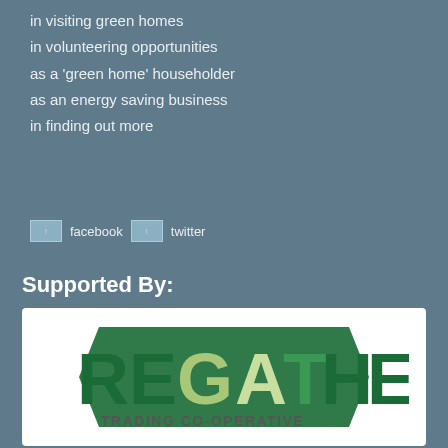in visiting green homes
in volunteering opportunities
as a 'green home' householder
as an energy saving business
in finding out more
[Figure (logo): Facebook and Twitter social media icons with labels]
Supported By:
[Figure (logo): Regather Trading Co-operative logo — green stylized text on white background]